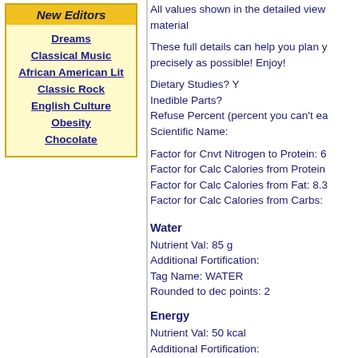New Editors
Dreams
Classical Music
African American Lit
Classic Rock
English Culture
Obesity
Chocolate
All values shown in the detailed view material
These full details can help you plan y precisely as possible! Enjoy!
Dietary Studies? Y
Inedible Parts?
Refuse Percent (percent you can't ea
Scientific Name:
Factor for Cnvt Nitrogen to Protein: 6
Factor for Calc Calories from Protein
Factor for Calc Calories from Fat: 8.3
Factor for Calc Calories from Carbs:
Water
Nutrient Val: 85 g
Additional Fortification:
Tag Name: WATER
Rounded to dec points: 2
Energy
Nutrient Val: 50 kcal
Additional Fortification: